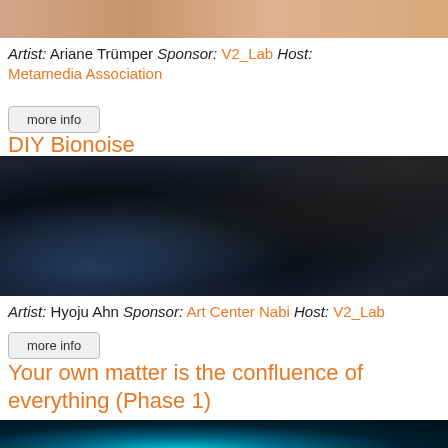[Figure (photo): Top cropped photo strip showing warm-toned skin/fabric texture]
Artist: Ariane Trümper Sponsor: V2_Lab Host: Metamedia Association
more info
DIY Bionoise
[Figure (photo): Dark photo of a music/electronics performance setup with cables, colorful electronic components, and a person working at a table with stage lighting]
Artist: Hyoju Ahn Sponsor: Art Center Nabi Host: V2_Lab
more info
Your own matter is the confluence of everything (Phase 1)
[Figure (photo): Bottom cropped photo showing a person with headphones under teal/cyan lighting]